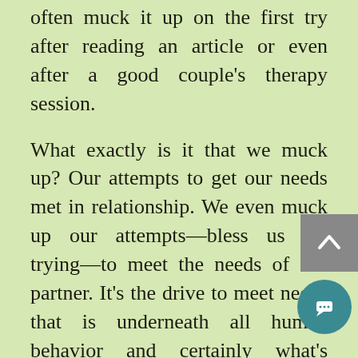often muck it up on the first try after reading an article or even after a good couple's therapy session.

What exactly is it that we muck up? Our attempts to get our needs met in relationship. We even muck up our attempts—bless us for trying—to meet the needs of our partner. It's the drive to meet needs that is underneath all human behavior and certainly what's underneath all conflict between partners.
We all do whatever we can in order to survive – to get our needs met – in any moment of our lives. It's instinct. If we can